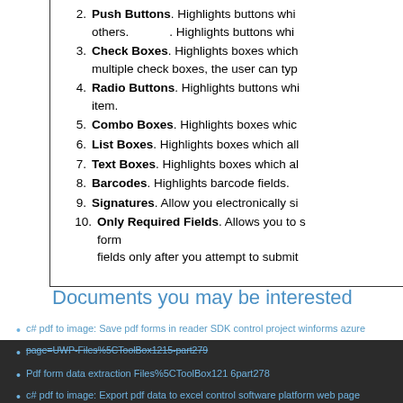2. Push Buttons. Highlights buttons which others. . Highlights buttons whi
3. Check Boxes. Highlights boxes which multiple check boxes, the user can typ
4. Radio Buttons. Highlights buttons whi item.
5. Combo Boxes. Highlights boxes whic
6. List Boxes. Highlights boxes which all
7. Text Boxes. Highlights boxes which al
8. Barcodes. Highlights barcode fields.
9. Signatures. Allow you electronically si
10. Only Required Fields. Allows you to s form fields only after you attempt to submit
Documents you may be interested
c# pdf to image: Save pdf forms in reader SDK control project winforms azure page=UWP-Files%5CToolBox1215-part279
Pdf form data extraction Files%5CToolBox121 6part278
c# pdf to image: Export pdf data to excel control software platform web page